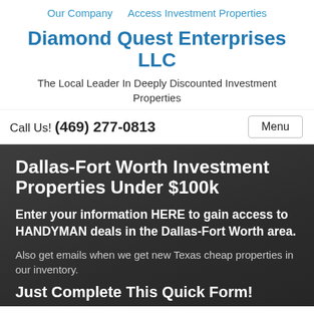Our Company   Access Investment Properties
Diamond Quest Enterprises LLC
The Local Leader In Deeply Discounted Investment Properties
Call Us! (469) 277-0813
Dallas-Fort Worth Investment Properties Under $100k
Enter your information HERE to gain access to HANDYMAN deals in the Dallas-Fort Worth area.
Also get emails when we get new Texas cheap properties in our inventory.
Just Complete This Quick Form!